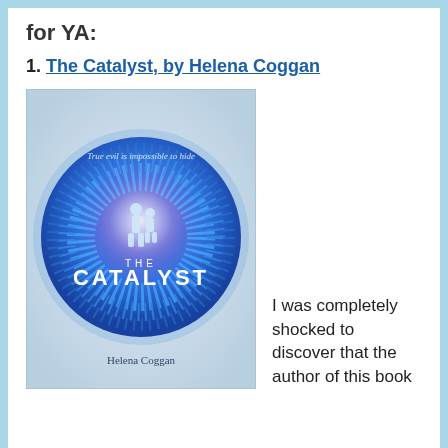for YA:
1. The Catalyst, by Helena Coggan
[Figure (photo): Book cover of 'The Catalyst' by Helena Coggan. Features a large blue/purple glowing orb/explosion on a misty grey background with two silhouetted figures in the center. Text reads 'True evil is impossible to hide' at the top, 'THE CATALYST' in large letters in the middle, and 'Helena Coggan' at the bottom.]
I was completely shocked to discover that the author of this book